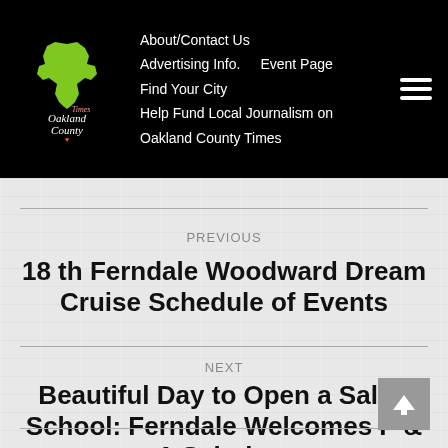Oakland County Times — About/Contact Us | Advertising Info. | Event Page | Find Your City | Help Fund Local Journalism on Oakland County Times
PREVIOUS
18 th Ferndale Woodward Dream Cruise Schedule of Events
NEXT
Beautiful Day to Open a Salon School: Ferndale Welcomes P & A Scholars